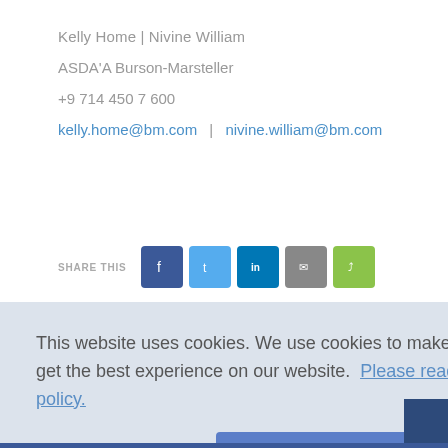Kelly Home | Nivine William
ASDA'A Burson-Marsteller
+9 714 450 7 600
kelly.home@bm.com   |   nivine.william@bm.com
[Figure (infographic): SHARE THIS bar with Facebook, Twitter, LinkedIn, Email, and share buttons]
This website uses cookies. We use cookies to make sure you get the best experience on our website.  Please read our privacy policy.
No, I want more info
Yes, I accept cookies